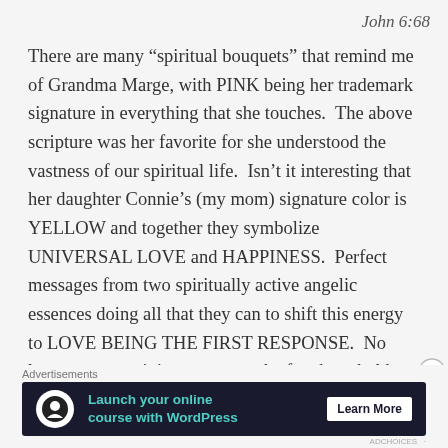John 6:68
There are many “spiritual bouquets” that remind me of Grandma Marge, with PINK being her trademark signature in everything that she touches.  The above scripture was her favorite for she understood the vastness of our spiritual life.  Isn’t it interesting that her daughter Connie’s (my mom) signature color is YELLOW and together they symbolize UNIVERSAL LOVE and HAPPINESS.  Perfect messages from two spiritually active angelic essences doing all that they can to shift this energy to LOVE BEING THE FIRST RESPONSE.  No longer are we giving energy to the fear based old stories.  We are being given a gift on
Advertisements
[Figure (screenshot): Advertisement banner: dark navy background with teal text 'Launch your online course with WordPress' and a white 'Learn More' button, with a tree/person icon on the left.]